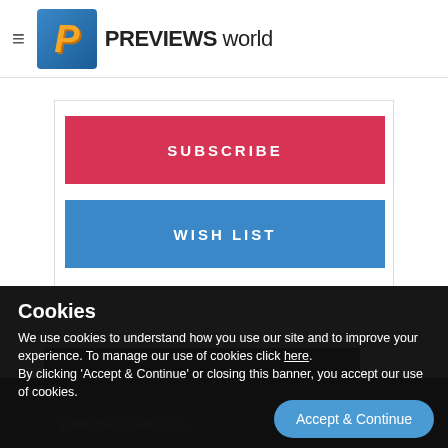PREVIEWS world
SUBSCRIBE
WISH LIST
Cookies
We use cookies to understand how you use our site and to improve your experience. To manage our use of cookies click here. By clicking 'Accept & Continue' or closing this banner, you accept our use of cookies.
Accept & Continue